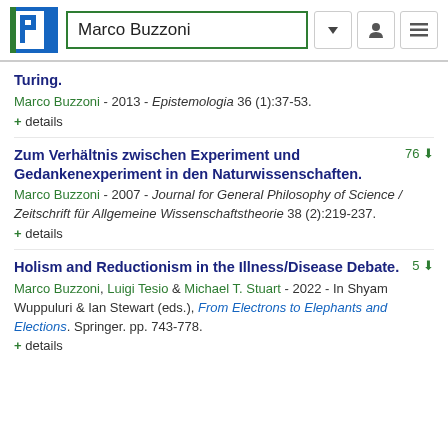Marco Buzzoni
Turing.
Marco Buzzoni - 2013 - Epistemologia 36 (1):37-53.
+ details
Zum Verhältnis zwischen Experiment und Gedankenexperiment in den Naturwissenschaften.
Marco Buzzoni - 2007 - Journal for General Philosophy of Science / Zeitschrift für Allgemeine Wissenschaftstheorie 38 (2):219-237.
+ details
Holism and Reductionism in the Illness/Disease Debate.
Marco Buzzoni, Luigi Tesio & Michael T. Stuart - 2022 - In Shyam Wuppuluri & Ian Stewart (eds.), From Electrons to Elephants and Elections. Springer. pp. 743-778.
+ details